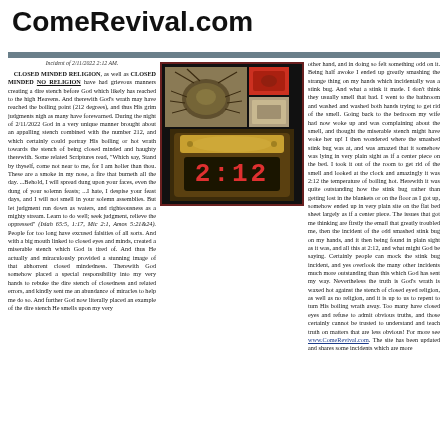ComeRevival.com
Incident of 2/11/2022 2:12 AM. CLOSED MINDED RELIGION, as well as CLOSED MINDED NO RELIGION have had grievous manners creating a dire stench before God which likely has reached to the high Heavens. And therewith God's wrath may have reached the boiling point (212 degrees), and thus His grim judgments nigh as many have forewarned. During the night of 2/11/2022 God in a very unique manner brought about an appalling stench combined with the number 212, and which certainly could portray His boiling or hot wrath towards the stench of being closed minded and haughty therewith. Some related Scriptures read, "Which say, Stand by thyself, come not near to me, for I am holier than thou. These are a smoke in my nose, a fire that burneth all the day. ...Behold, I will spread dung upon your faces, even the dung of your solemn feasts; ...I hate, I despise your feast days, and I will not smell in your solemn assemblies. But let judgment run down as waters, and righteousness as a mighty stream. Learn to do well; seek judgment, relieve the oppressed" (Isiah 65:5, 1:17, Mic 2:1, Amos 5:21&24). People for too long have excused falsities of all sorts. And with a big mouth linked to closed eyes and minds, created a miserable stench which God is tired of. And thus He actually and miraculously provided a stunning image of that abhorrent closed mindedness. Therewith God somehow placed a special responsibility into my very hands to rebuke the dire stench of closedness and related errors, and kindly sent me an abundance of miracles to help me do so. And further God now literally placed an example of the dire stench He smells upon my very
[Figure (photo): Two photos: top left shows a brown stink bug insect, top right shows a small red image, bottom shows a digital clock reading 2:12 in red digits on a wooden clock face]
other hand, and in doing so felt something odd on it. Being half awoke I ended up greatly smashing the strange thing on my hands which incidentally was a stink bug. And what a stink it made. I don't think they usually smell that bad. I went to the bathroom and washed and washed both hands trying to get rid of the smell. Going back to the bedroom my wife had now woke up and was complaining about the smell, and thought the miserable stench might have woke her up! I then wondered where the smashed stink bug was at, and was amazed that it somehow was lying in very plain sight as if a center piece on the bed. I took it out of the room to get rid of the smell and looked at the clock and amazingly it was 2:12 the temperature of boiling hot. Herewith it was quite outstanding how the stink bug rather than getting lost in the blankets or on the floor as I got up, somehow ended up in very plain site on the flat bed sheet largely as if a center piece. The issues that got me thinking are firstly the email that greatly troubled me, then the incident of the odd smashed stink bug on my hands, and it then being found in plain sight as it was, and all this at 2:12, and what might God be saying. Certainly people can mock the stink bug incident, and yes overlook the many other incidents much more outstanding than this which God has sent my way. Nevertheless the truth is God's wrath is waxed hot against the stench of closed eyed religion, as well as no religion, and it is up to us to repent to turn His boiling wrath away. Too many have closed eyes and refuse to admit obvious truths, and those certainly cannot be trusted to understand and teach truth on matters that are less obvious! For more see www.ComeRevival.com. The site has been updated and shares some incidents which are more